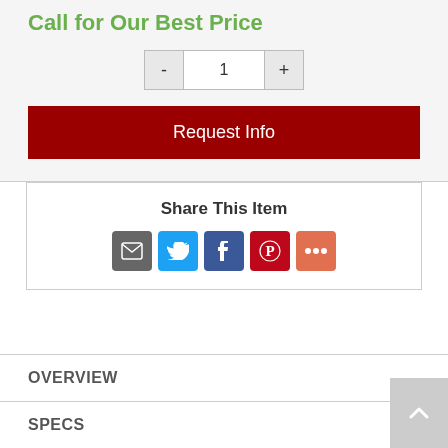Call for Our Best Price
[Figure (other): Quantity selector with minus button, value 1, and plus button]
[Figure (other): Red 'Request Info' button]
Share This Item
[Figure (other): Social share icons: Email (grey), Twitter (blue), Facebook (dark blue), Pinterest (red), More (orange)]
OVERVIEW
SPECS